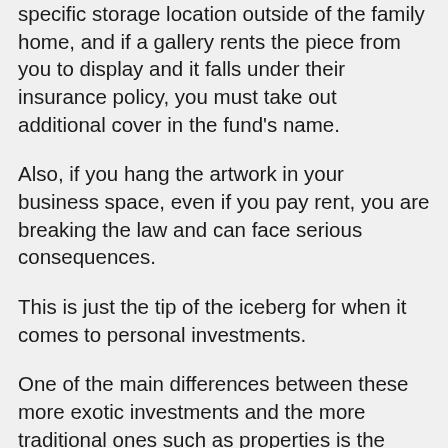specific storage location outside of the family home, and if a gallery rents the piece from you to display and it falls under their insurance policy, you must take out additional cover in the fund's name.
Also, if you hang the artwork in your business space, even if you pay rent, you are breaking the law and can face serious consequences.
This is just the tip of the iceberg for when it comes to personal investments.
One of the main differences between these more exotic investments and the more traditional ones such as properties is the